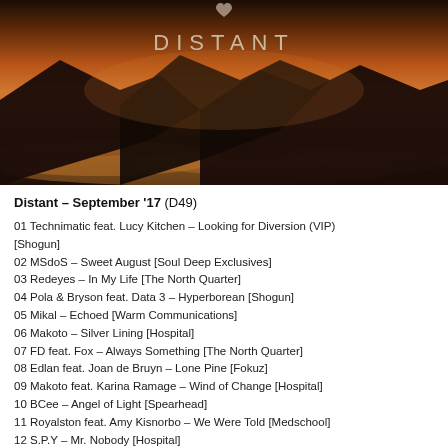[Figure (photo): Mountain silhouette against a warm orange and golden sunset sky with clouds, with the word DISTANT in large spaced letters overlaid on the image]
Distant – September '17 (D49)
01 Technimatic feat. Lucy Kitchen – Looking for Diversion (VIP) [Shogun]
02 MSdoS – Sweet August [Soul Deep Exclusives]
03 Redeyes – In My Life [The North Quarter]
04 Pola & Bryson feat. Data 3 – Hyperborean [Shogun]
05 Mikal – Echoed [Warm Communications]
06 Makoto – Silver Lining [Hospital]
07 FD feat. Fox – Always Something [The North Quarter]
08 Edlan feat. Joan de Bruyn – Lone Pine [Fokuz]
09 Makoto feat. Karina Ramage – Wind of Change [Hospital]
10 BCee – Angel of Light [Spearhead]
11 Royalston feat. Amy Kisnorbo – We Were Told [Medschool]
12 S.P.Y – Mr. Nobody [Hospital]
13 Halogenix feat. SOLAH – The Night [1985]